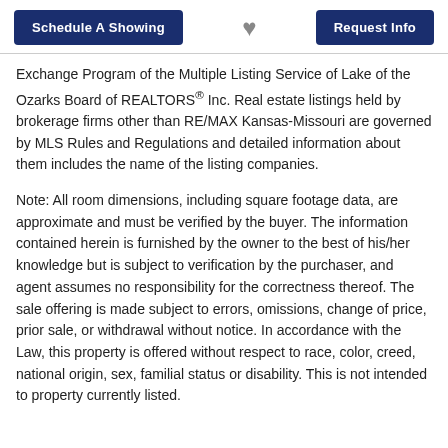Schedule A Showing | [heart] | Request Info
Exchange Program of the Multiple Listing Service of Lake of the Ozarks Board of REALTORS® Inc. Real estate listings held by brokerage firms other than RE/MAX Kansas-Missouri are governed by MLS Rules and Regulations and detailed information about them includes the name of the listing companies.
Note: All room dimensions, including square footage data, are approximate and must be verified by the buyer. The information contained herein is furnished by the owner to the best of his/her knowledge but is subject to verification by the purchaser, and agent assumes no responsibility for the correctness thereof. The sale offering is made subject to errors, omissions, change of price, prior sale, or withdrawal without notice. In accordance with the Law, this property is offered without respect to race, color, creed, national origin, sex, familial status or disability. This is not intended to property currently listed.